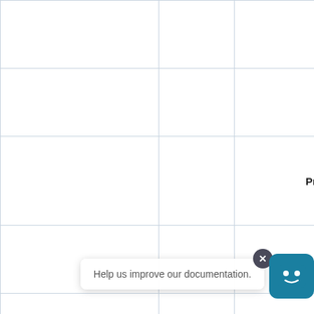|  |  |  | o |
|  |  |  | D |
|  |  | PriceOptions | A
o |
|  |  |  | D |
|  |  | Code | S |
|  |  |  | s
g |
Help us improve our documentation.